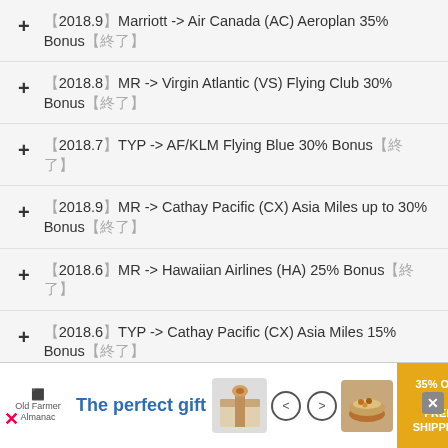【2018.9】Marriott -> Air Canada (AC) Aeroplan 35% Bonus【終了】
【2018.8】MR -> Virgin Atlantic (VS) Flying Club 30% Bonus【終了】
【2018.7】TYP -> AF/KLM Flying Blue 30% Bonus【終了】
【2018.9】MR -> Cathay Pacific (CX) Asia Miles up to 30% Bonus【終了】
【2018.6】MR -> Hawaiian Airlines (HA) 25% Bonus【終了】
【2018.6】TYP -> Cathay Pacific (CX) Asia Miles 15% Bonus【終了】
【2018.5】MR -> AF/KLM Flying Blue 25% Bonus【終了】